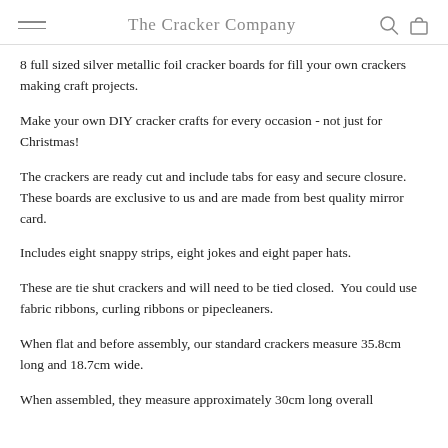The Cracker Company
8 full sized silver metallic foil cracker boards for fill your own crackers making craft projects.
Make your own DIY cracker crafts for every occasion - not just for Christmas!
The crackers are ready cut and include tabs for easy and secure closure. These boards are exclusive to us and are made from best quality mirror card.
Includes eight snappy strips, eight jokes and eight paper hats.
These are tie shut crackers and will need to be tied closed.  You could use fabric ribbons, curling ribbons or pipecleaners.
When flat and before assembly, our standard crackers measure 35.8cm long and 18.7cm wide.
When assembled, they measure approximately 30cm long overall